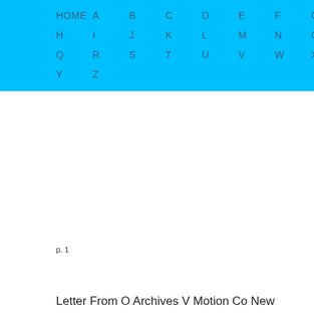HOME  A  B  C  D  E  F  G  H  I  J  K  L  M  N  O  P  Q  R  S  T  U  V  W  X  Y  Z
p. 1
Letter From O Archives V Motion Co New